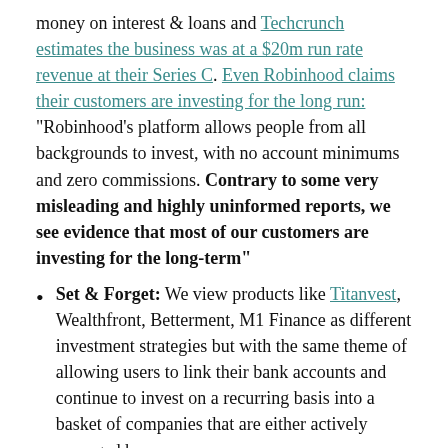money on interest & loans and Techcrunch estimates the business was at a $20m run rate revenue at their Series C. Even Robinhood claims their customers are investing for the long run: "Robinhood's platform allows people from all backgrounds to invest, with no account minimums and zero commissions. Contrary to some very misleading and highly uninformed reports, we see evidence that most of our customers are investing for the long-term"
Set & Forget: We view products like Titanvest, Wealthfront, Betterment, M1 Finance as different investment strategies but with the same theme of allowing users to link their bank accounts and continue to invest on a recurring basis into a basket of companies that are either actively managed by